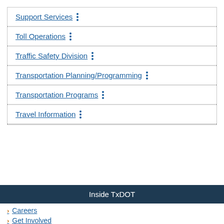Support Services
Toll Operations
Traffic Safety Division
Transportation Planning/Programming
Transportation Programs
Travel Information
Inside TxDOT
Careers
Get Involved
Media Center
Projects